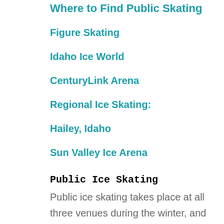Where to Find Public Skating
Figure Skating
Idaho Ice World
CenturyLink Arena
Regional Ice Skating:
Hailey, Idaho
Sun Valley Ice Arena
Public Ice Skating
Public ice skating takes place at all three venues during the winter, and at Idaho Ice World all year round.